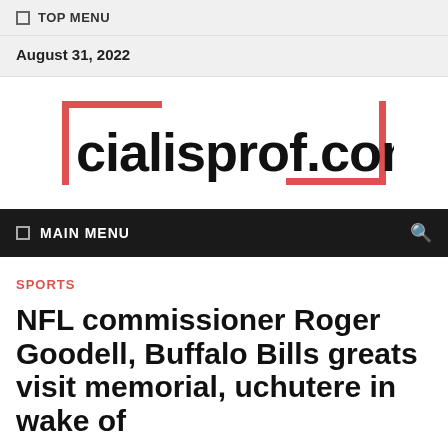☰ TOP MENU
August 31, 2022
[Figure (logo): cialisprof.com logo with red bracket/corner decorations on left and right sides]
☰ MAIN MENU
SPORTS
NFL commissioner Roger Goodell, Buffalo Bills greats visit memorial, uchutere in wake of